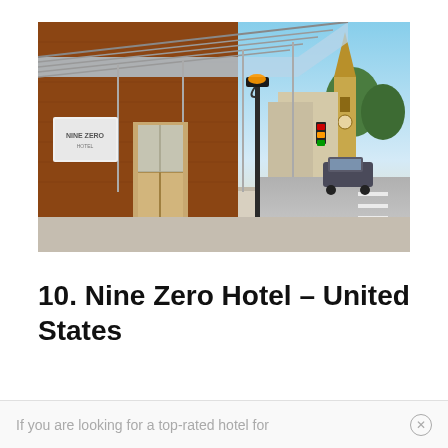[Figure (photo): Exterior photo of Nine Zero Hotel showing brick facade with glass canopy entrance, revolving doors, a hotel sign on the wall, a decorative street lamp, and a church steeple visible in the background along a city street.]
10. Nine Zero Hotel – United States
If you are looking for a top-rated hotel for